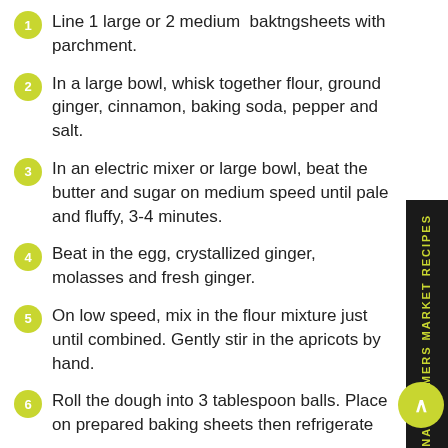Line 1 large or 2 medium baktngsheets with parchment.
In a large bowl, whisk together flour, ground ginger, cinnamon, baking soda, pepper and salt.
In an electric mixer or large bowl, beat the butter and sugar on medium speed until pale and fluffy, 3-4 minutes.
Beat in the egg, crystallized ginger, molasses and fresh ginger.
On low speed, mix in the flour mixture just until combined. Gently stir in the apricots by hand.
Roll the dough into 3 tablespoon balls. Place on prepared baking sheets then refrigerate